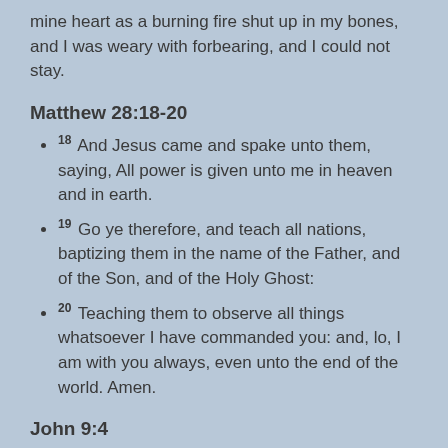mine heart as a burning fire shut up in my bones, and I was weary with forbearing, and I could not stay.
Matthew 28:18-20
18 And Jesus came and spake unto them, saying, All power is given unto me in heaven and in earth.
19 Go ye therefore, and teach all nations, baptizing them in the name of the Father, and of the Son, and of the Holy Ghost:
20 Teaching them to observe all things whatsoever I have commanded you: and, lo, I am with you always, even unto the end of the world. Amen.
John 9:4
4 I must work the works of him that sent me, while